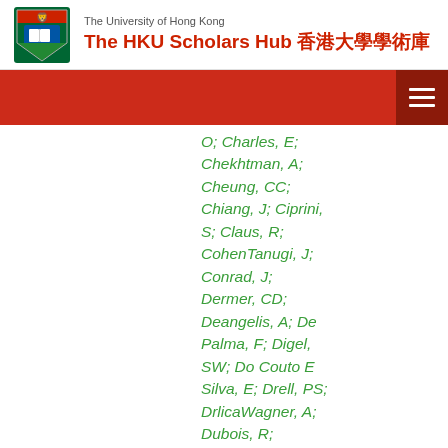The University of Hong Kong — The HKU Scholars Hub 香港大學學術庫
O; Charles, E; Chekhtman, A; Cheung, CC; Chiang, J; Ciprini, S; Claus, R; CohenTanugi, J; Conrad, J; Dermer, CD; Deangelis, A; De Palma, F; Digel, SW; Do Couto E Silva, E; Drell, PS; DrlicaWagner, A; Dubois, R; Dumora, D; Farnier, C; Favuzzi, C;